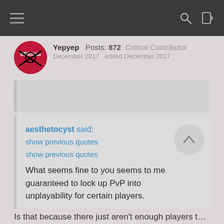Navigation bar with hamburger menu, search and login icons
[Figure (photo): User avatar for Yepyep - circular profile image with red background and graphic design]
Yepyep  Posts: 872  Critical Contributor
December 2017  edited December 2017
aesthetocyst said:
show previous quotes
show previous quotes
What seems fine to you seems to me guaranteed to lock up PvP into unplayability for certain players.
Is that because there just aren't enough players to do